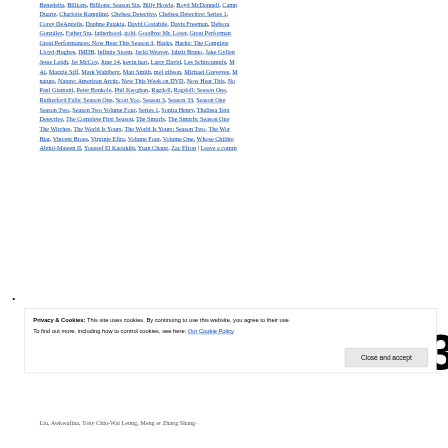Benedetta, Billions, Billions: Season Six, Billy Howle, Boyd McDonnell, Camp Duarte, Charlotte Rampling, Chelsea Detective, Chelsea Detective: Series 1, Corey DeAngelis, Daphne Patakia, David Costabile, Davis Freeman, Debora González, Father Stu, fatherhood, gold, Goodbye Mr. Loser, Great Performances: Now Hear This Season 3, Hacks, Hacks: The Complete Lloyd-Hughes, IMDB, Infinite Storm, Jacki Weaver, Jahzir Bruno, Jake Gyllen Jesse Leigh, Jet McCoy, June 14, kevin hart, Larry David, Les Schtroumpfs, Ai, Maggie Siff, Mark Wahlberg, Matt Smith, mel gibson, Michael Greyeyes, M nature, Nature: American Arctic, New This Week on DVD, Now Hear This, No Paul Giamatti, Peter Bankole, Phil Keoghan, Ragdoll, Ragdoll: Season One, Rutherford Falls: Season One, Scott Yoo, Season 3, Season 33, Season One Season Two, Season Two Volume Four, Series 1, Sonita Henry, Thalissa Teix Detective, The Complete First Season, The Smurfs, The Smurfs: Season One The Witches, The World Is Yours, The World Is Yours: Season Two, The Wor Biar, Vincent Broes, Virginie Efira, Volume Four, Volume One, Whose Childre Abdul-Mateen II, Youssef El Kaoukibi, Yuan Chang, Zac Efron | Leave a comm
Privacy & Cookies: This site uses cookies. By continuing to use this website, you agree to their use.
To find out more, including how to control cookies, see here: Our Cookie Policy
Close and accept
Liu, Awkwafina, Tony Chiu-Wai Leung, Meng er Zhang Shang-